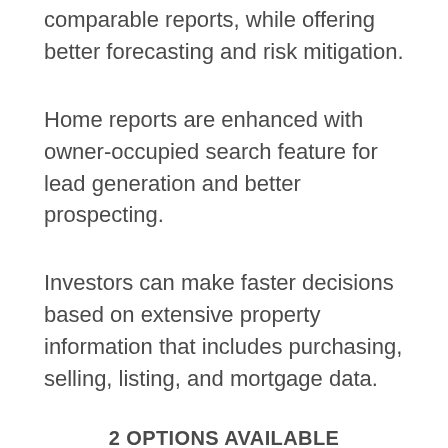comparable reports, while offering better forecasting and risk mitigation.
Home reports are enhanced with owner-occupied search feature for lead generation and better prospecting.
Investors can make faster decisions based on extensive property information that includes purchasing, selling, listing, and mortgage data.
2 OPTIONS AVAILABLE